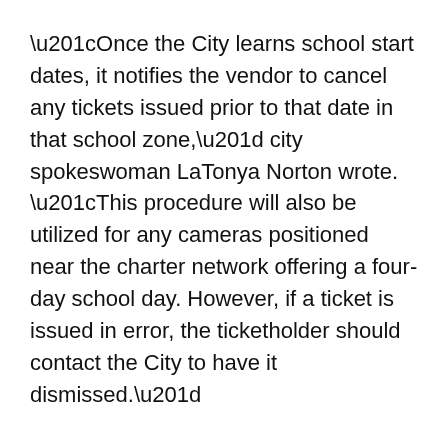“Once the City learns school start dates, it notifies the vendor to cancel any tickets issued prior to that date in that school zone,” city spokeswoman LaTonya Norton wrote. “This procedure will also be utilized for any cameras positioned near the charter network offering a four-day school day. However, if a ticket is issued in error, the ticketholder should contact the City to have it dismissed.”
Bus drivers were out practicing routes this week and some were picking up students Thursday. Cain cautioned drivers to especially watch out for younger students.